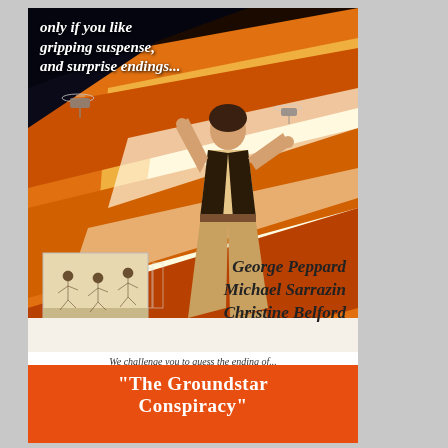[Figure (illustration): Movie poster for 'The Groundstar Conspiracy' featuring a man running/leaping with an explosion of orange and white flames behind him, helicopters and city buildings in the background, and smaller figures running. Top text tagline in white italic, cast names in bold italic at lower right, challenge text and orange title banner at the bottom.]